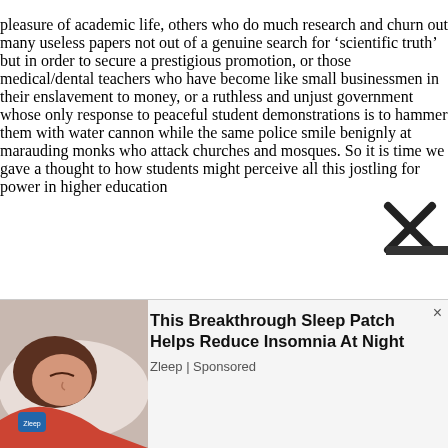pleasure of academic life, others who do much research and churn out many useless papers not out of a genuine search for 'scientific truth' but in order to secure a prestigious promotion, or those medical/dental teachers who have become like small businessmen in their enslavement to money, or a ruthless and unjust government whose only response to peaceful student demonstrations is to hammer them with water cannon while the same police smile benignly at marauding monks who attack churches and mosques. So it is time we gave a thought to how students might perceive all this jostling for power in higher education
[Figure (other): Advertisement overlay at bottom of page. Shows a woman sleeping on a pillow (photo), next to ad text: 'This Breakthrough Sleep Patch Helps Reduce Insomnia At Night' by Zleep | Sponsored. Contains a close/dismiss X button.]